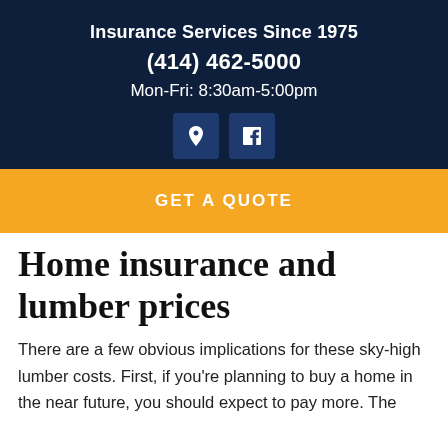Insurance Services Since 1975
(414) 462-5000
Mon-Fri: 8:30am-5:00pm
[Figure (infographic): Two social media icon buttons: location pin icon and Facebook icon, both on dark blue square backgrounds]
GET A QUOTE
Home insurance and lumber prices
There are a few obvious implications for these sky-high lumber costs. First, if you're planning to buy a home in the near future, you should expect to pay more. The